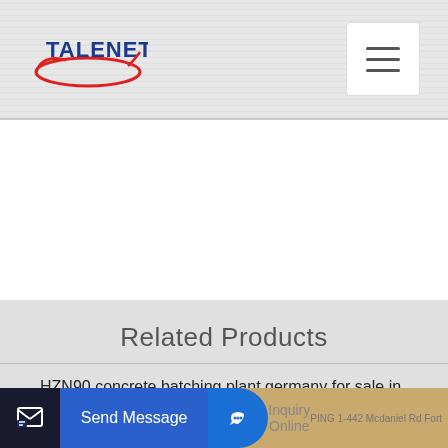[Figure (logo): Talenet logo with red oval and blue text]
Related Products
HZN90 concrete batching plant germany for sale in Cambodia
reasonable price concrete mixer in sri lanka with top quality
Send Message | Inquiry Online | PING 1-442 Mcdaniel Rd Fort